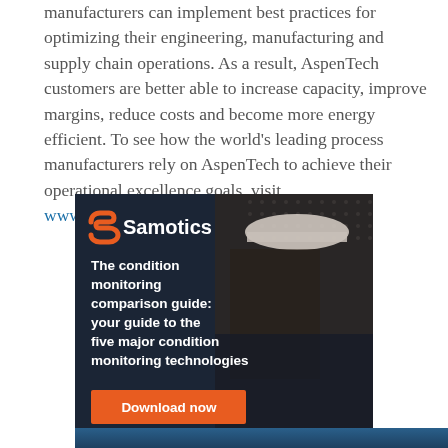manufacturers can implement best practices for optimizing their engineering, manufacturing and supply chain operations. As a result, AspenTech customers are better able to increase capacity, improve margins, reduce costs and become more energy efficient. To see how the world's leading process manufacturers rely on AspenTech to achieve their operational excellence goals, visit www.aspentech.com
[Figure (illustration): Samotics advertisement banner with dark navy background, worker in hard hat and safety glasses, orange Samotics 'S' logo, white text reading 'The condition monitoring comparison guide: your guide to the five major condition monitoring technologies', and an orange 'Download now' button.]